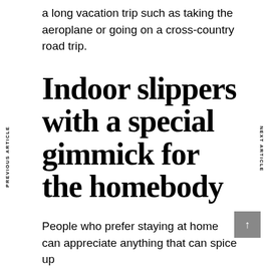a long vacation trip such as taking the aeroplane or going on a cross-country road trip.
Indoor slippers with a special gimmick for the homebody
PREVIOUS ARTICLE
NEXT ARTICLE
People who prefer staying at home can appreciate anything that can spice up